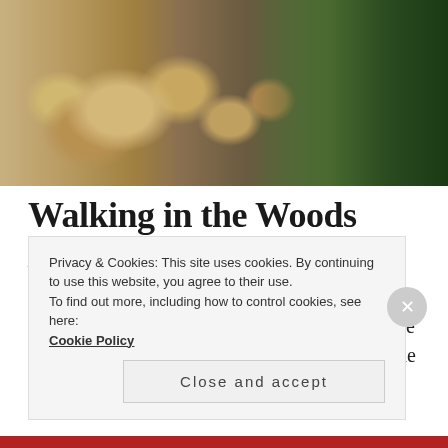[Figure (photo): Close-up photograph of mushrooms growing in a forest, with green moss visible on the right side and forest debris]
Walking in the Woods // Photo Stream
september 6, 2017
There's nothing more I love than taking the little pocket pup, Juno, up to what we locally call The
Privacy & Cookies: This site uses cookies. By continuing to use this website, you agree to their use.
To find out more, including how to control cookies, see here:
Cookie Policy
Close and accept